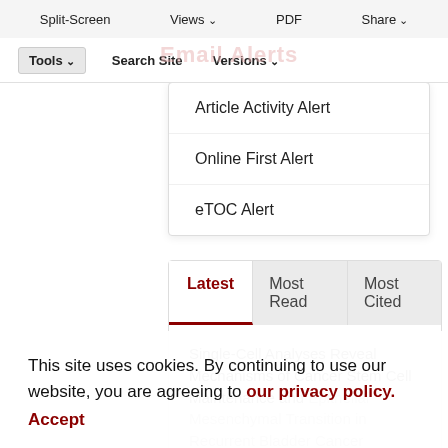Split-Screen  Views  PDF  Share
Tools  Search Site  Versions
Article Activity Alert
Online First Alert
eTOC Alert
Latest  Most Read  Most Cited
Single-Cell Analyses Reveal Mechanisms of Cancer Stem Cell Maintenance and Epithelial-Mesenchymal Transition in Recurrent Bladder Cancer
This site uses cookies. By continuing to use our website, you are agreeing to our privacy policy. Accept